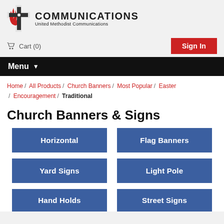[Figure (logo): United Methodist Communications logo: red cross/flame symbol on left, bold text COMMUNICATIONS on right with United Methodist Communications subtitle]
Cart (0)
Sign In
Menu
Home / All Products / Church Banners / Most Popular / Easter / Encouragement / Traditional
Church Banners & Signs
Horizontal
Flag Banners
Yard Signs
Light Pole
Hand Holds
Street Signs